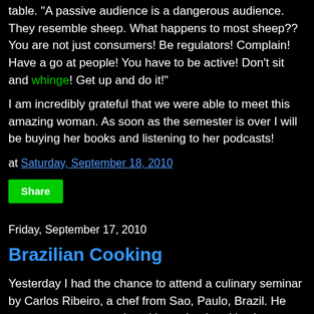table.  "A passive audience is a dangerous audience.  They resemble sheep.  What happens to most sheep??  You are not just consumers!  Be regulators! Complain! Have a go at people! You have to be active! Don't sit and whinge!  Get up and do it!"
I am incredibly grateful that we were able to meet this amazing woman.  As soon as the semester is over I will be buying her books and listening to her podcasts!
at Saturday, September 18, 2010
Share
Friday, September 17, 2010
Brazilian Cooking
Yesterday I had the chance to attend a culinary seminar by Carlos Ribeiro, a chef from Sao, Paulo, Brazil. He owns a restaurant and cooking school and is also a professor at four Brazilian institutions. While he cooked us a delicious lunch, he explained Brazilian culinary traditions and the global